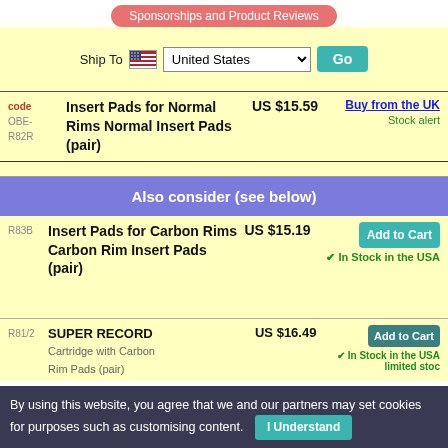Sponsorships and Product Reviews
Ship To [flag] United States  Go
code
OBE-R82R
Insert Pads for Normal Rims Normal Insert Pads (pair)
US $15.59
Buy from the UK
Stock alert
Also consider (see below)
R83B
Insert Pads for Carbon Rims Carbon Rim Insert Pads (pair)
US $15.19
Add to Cart
✔ In Stock in the USA
R81/2
SUPER RECORD
US $16.49
Add to Cart
✔ In Stock in the USA limited stoc
By using this website, you agree that we and our partners may set cookies for purposes such as customising content.
I Understand